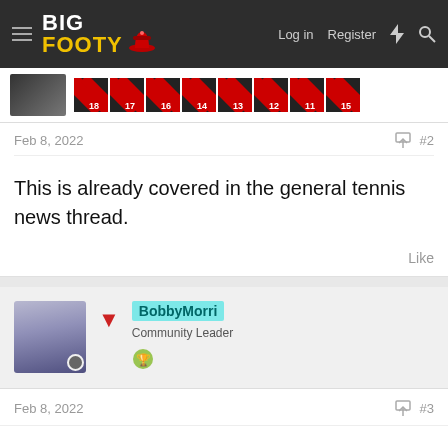BigFooty — Log in  Register
[Figure (screenshot): Row of 8 diagonal red-and-black striped badge tiles numbered 18, 17, 16, 14, 13, 12, 11, 15]
Feb 8, 2022  #2
This is already covered in the general tennis news thread.
Like
[Figure (photo): User avatar: anime-style character with silver/white hair, wearing dark outfit. Username BobbyMorri shown with cyan highlight. Role: Community Leader. Red heart badge icon. Green trophy icon.]
Feb 8, 2022  #3